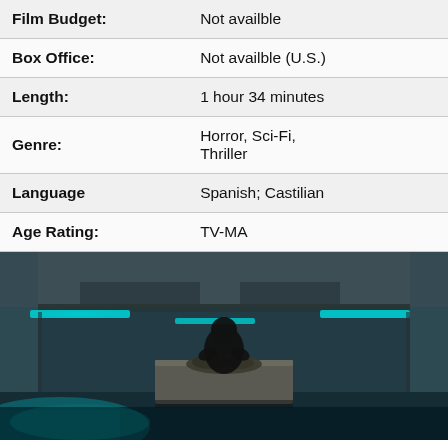| Field | Value |
| --- | --- |
| Film Budget: | Not availble |
| Box Office: | Not availble (U.S.) |
| Length: | 1 hour 34 minutes |
| Genre: | Horror, Sci-Fi, Thriller |
| Language | Spanish; Castilian |
| Age Rating: | TV-MA |
[Figure (photo): Dark cinematic scene showing a figure crouching on a concrete block in a dimly lit room with teal/cyan lighting strips on the walls and ceiling, items scattered on the block surface.]